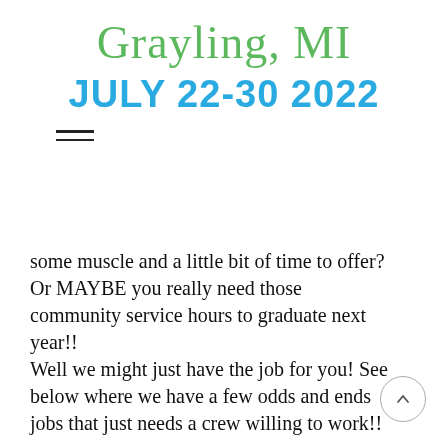Grayling, MI
JULY 22-30 2022
some muscle and a little bit of time to offer?
Or MAYBE you really need those community service hours to graduate next year!!
Well we might just have the job for you!  See below where we have a few odds and ends jobs that just needs a crew willing to work!!